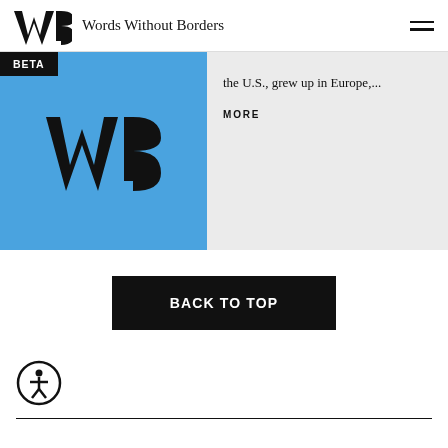Words Without Borders
[Figure (logo): Words Without Borders WB logo with text]
BETA
[Figure (logo): Blue box with WB logo mark]
the U.S., grew up in Europe,...
MORE
BACK TO TOP
[Figure (illustration): Accessibility icon - person in circle]